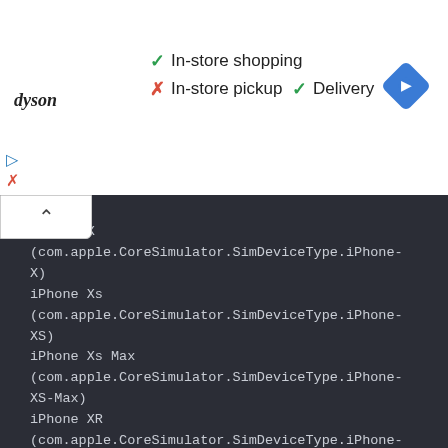[Figure (screenshot): Dyson store info banner showing in-store shopping (green check), in-store pickup (red X), and Delivery (green check), with a navigation arrow icon on the right]
[Figure (screenshot): Terminal/code window showing iOS Simulator device type identifiers for iPhone X, iPhone Xs, iPhone Xs Max, iPhone XR, and iPhone 11]
iPhone X
(com.apple.CoreSimulator.SimDeviceType.iPhone-X)
iPhone Xs
(com.apple.CoreSimulator.SimDeviceType.iPhone-XS)
iPhone Xs Max
(com.apple.CoreSimulator.SimDeviceType.iPhone-XS-Max)
iPhone XR
(com.apple.CoreSimulator.SimDeviceType.iPhone-XR)
iPhone 11
(com.apple.CoreSimulator.SimDeviceType.iPhone-11)